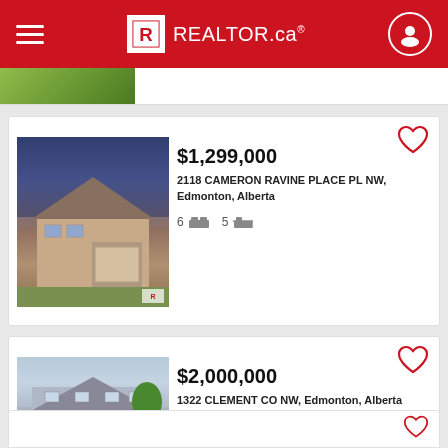REALTOR.ca
[Figure (screenshot): Partially visible property photo at top]
[Figure (photo): House at 2118 Cameron Ravine Place PL NW - two-storey home with attached garage, evening/dusk sky]
$1,299,000
2118 CAMERON RAVINE PLACE PL NW, Edmonton, Alberta
6 beds  5 baths
[Figure (photo): House at 1322 Clement CO NW - large two-storey grey stone home with green lawn]
$2,000,000
1322 CLEMENT CO NW, Edmonton, Alberta
8 beds  5 baths